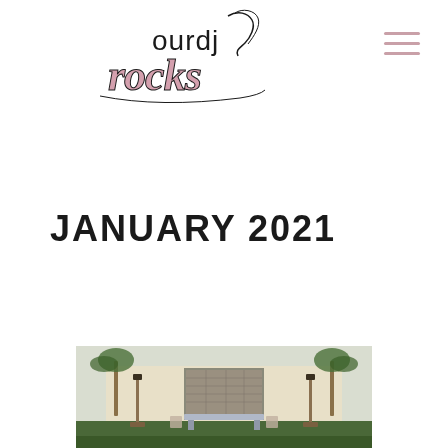[Figure (logo): Our DJ Rocks logo with cursive script text 'ourdj rocks' in black and pink]
JANUARY 2021
[Figure (photo): Outdoor wedding venue with stone wall water feature, wooden speaker stands, and festive table setting surrounded by palm trees and greenery]